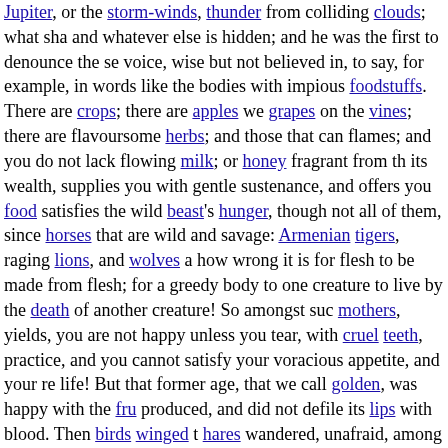Jupiter, or the storm-winds, thunder from colliding clouds; what sha and whatever else is hidden; and he was the first to denounce the se voice, wise but not believed in, to say, for example, in words like th bodies with impious foodstuffs. There are crops; there are apples we grapes on the vines; there are flavoursome herbs; and those that can flames; and you do not lack flowing milk; or honey fragrant from th its wealth, supplies you with gentle sustenance, and offers you food satisfies the wild beast's hunger, though not all of them, since horses that are wild and savage: Armenian tigers, raging lions, and wolves how wrong it is for flesh to be made from flesh; for a greedy body t one creature to live by the death of another creature! So amongst su mothers, yields, you are not happy unless you tear, with cruel teeth, practice, and you cannot satisfy your voracious appetite, and your re life! But that former age, that we call golden, was happy with the fr produced, and did not defile its lips with blood. Then birds winged t hares wandered, unafraid, among the fields, and its own gullibility d trickery, and fearless of any guile, and filled with peace. But once s something unfitting, envied the lion's prey, and stuffed his greedy b crime. It may be that, from the first, weapons were warm and bloods that would have been enough: I admit that creatures that seek our de sin, but while they may be killed, they still should not be eaten. Fro is thought that the pig was first considered to merit slaughter becau snout, and destroyed all hope of harvest. The goat was led to death, vines of Bacchus. These two suffered for their crimes! What did you man, who bring us sweet milk in full udders, who give us your woo